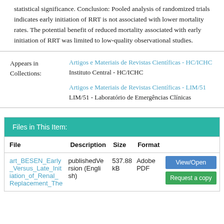statistical significance. Conclusion: Pooled analysis of randomized trials indicates early initiation of RRT is not associated with lower mortality rates. The potential benefit of reduced mortality associated with early initiation of RRT was limited to low-quality observational studies.
Appears in Collections: Artigos e Materiais de Revistas Científicas - HC/ICHC Instituto Central - HC/ICHC Artigos e Materiais de Revistas Científicas - LIM/51 LIM/51 - Laboratório de Emergências Clínicas
Files in This Item:
| File | Description | Size | Format |  |
| --- | --- | --- | --- | --- |
| art_BESEN_Early_Versus_Late_Initiation_of_Renal_Replacement_The | publishedVersion (English) | 537.88 kB | Adobe PDF | View/Open Request a copy |